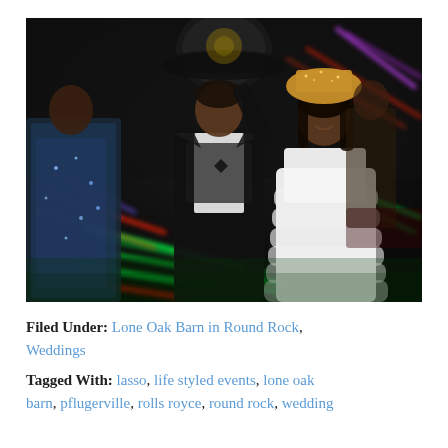[Figure (photo): A wedding reception dance floor photo with motion blur of colorful glow sticks (red, green, blue, purple). A groom in black tuxedo with bow tie and a bride in a short white ruffled dress wearing a glittery cowboy hat are embracing and smiling at each other. A woman in a sparkly blue dress is visible on the left. The background is dark with streaks of colorful light.]
Filed Under: Lone Oak Barn in Round Rock, Weddings
Tagged With: lasso, life styled events, lone oak barn, pflugerville, rolls royce, round rock, wedding